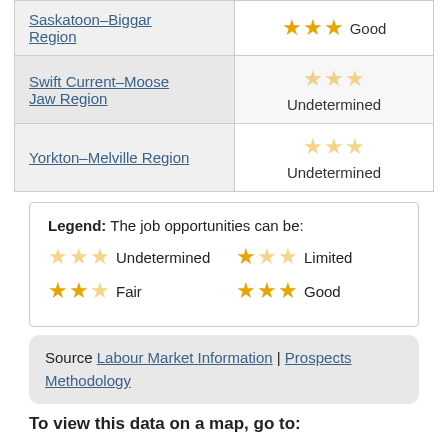| Region | Rating |
| --- | --- |
| Saskatoon–Biggar Region | ★★★ Good |
| Swift Current–Moose Jaw Region | ☆★★ Undetermined |
| Yorkton–Melville Region | ☆★★ Undetermined |
Legend: The job opportunities can be: ☆☆☆ Undetermined  ★☆☆ Limited  ★★☆ Fair  ★★★ Good
Source Labour Market Information | Prospects Methodology
To view this data on a map, go to: